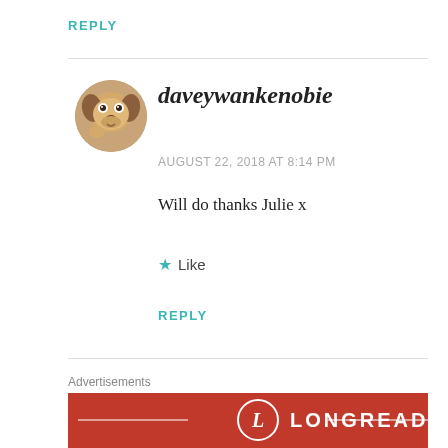REPLY
[Figure (photo): Circular avatar image of a beagle dog]
daveywankenobie
AUGUST 22, 2018 AT 8:14 PM
Will do thanks Julie x
★ Like
REPLY
Advertisements
[Figure (logo): Longreads advertisement banner with red background, circular L logo and LONGREADS text]